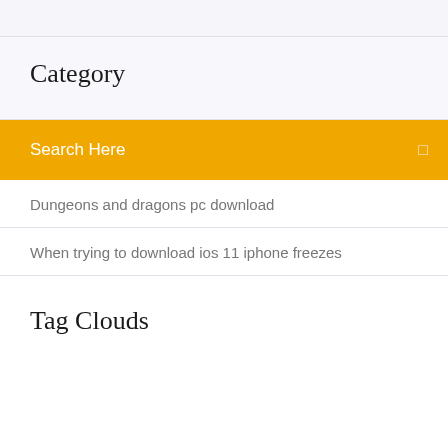Category
Search Here
Dungeons and dragons pc download
When trying to download ios 11 iphone freezes
Tag Clouds